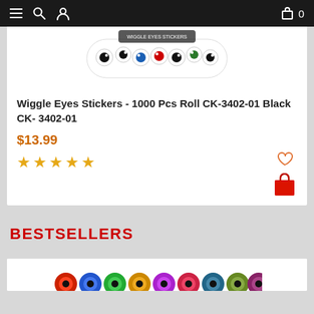Navigation bar with menu, search, user, cart icons
[Figure (photo): Product photo of Wiggle Eyes Stickers roll on white background, showing colorful googly eyes]
Wiggle Eyes Stickers - 1000 Pcs Roll CK-3402-01 Black CK- 3402-01
$13.99
★★★★★
BESTSELLERS
[Figure (photo): Partial product image of colorful sticker rolls at bottom of page]